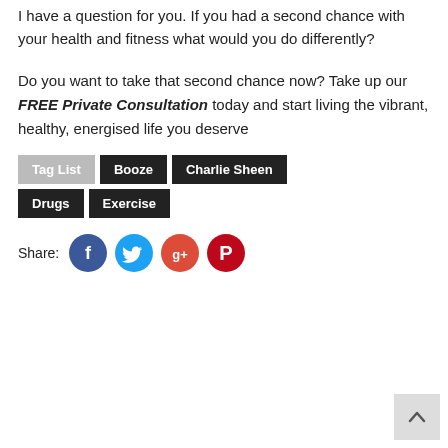I have a question for you. If you had a second chance with your health and fitness what would you do differently?
Do you want to take that second chance now? Take up our FREE Private Consultation today and start living the vibrant, healthy, energised life you deserve
Tag List
Booze
Charlie Sheen
Drugs
Exercise
Share:
[Figure (infographic): Social share buttons: Facebook (blue circle with f icon), Twitter (light blue circle with bird icon), Google+ (orange-red circle with g+ icon), Pinterest (red circle with P icon)]